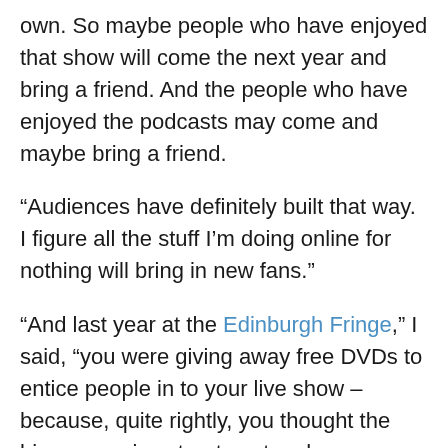own. So maybe people who have enjoyed that show will come the next year and bring a friend. And the people who have enjoyed the podcasts may come and maybe bring a friend.
“Audiences have definitely built that way. I figure all the stuff I’m doing online for nothing will bring in new fans.”
“And last year at the Edinburgh Fringe,” I said, “you were giving away free DVDs to entice people in to your live show – because, quite rightly, you thought the big, expensive street posters have very little effect.”
“Well,” explained Richard, “people get sucked into what you supposedly have to do and, especially in Edinburgh, things get more and more expensive. I think those large billboard posters and lamp post posters are mainly ego for